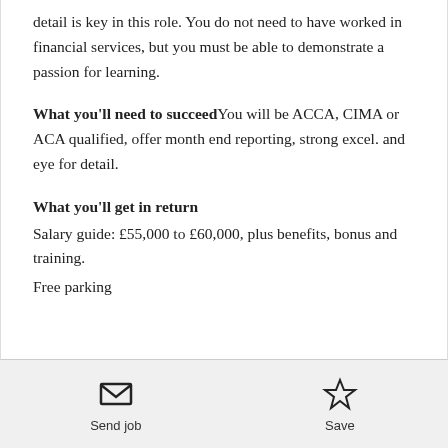detail is key in this role. You do not need to have worked in financial services, but you must be able to demonstrate a passion for learning.
What you'll need to succeed You will be ACCA, CIMA or ACA qualified, offer month end reporting, strong excel. and eye for detail.
What you'll get in return
Salary guide: £55,000 to £60,000, plus benefits, bonus and training.
Free parking
[Figure (infographic): Send job icon (envelope) with label 'Send job' and Save icon (star outline) with label 'Save']